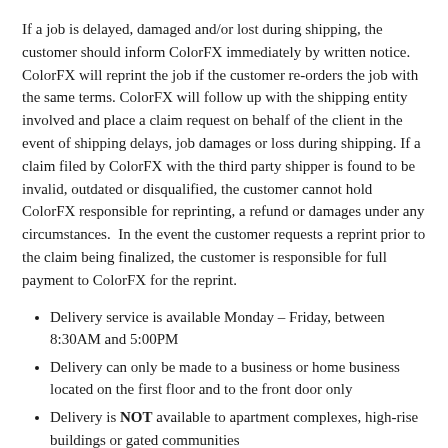If a job is delayed, damaged and/or lost during shipping, the customer should inform ColorFX immediately by written notice. ColorFX will reprint the job if the customer re-orders the job with the same terms. ColorFX will follow up with the shipping entity involved and place a claim request on behalf of the client in the event of shipping delays, job damages or loss during shipping. If a claim filed by ColorFX with the third party shipper is found to be invalid, outdated or disqualified, the customer cannot hold ColorFX responsible for reprinting, a refund or damages under any circumstances.  In the event the customer requests a reprint prior to the claim being finalized, the customer is responsible for full payment to ColorFX for the reprint.
Delivery service is available Monday – Friday, between 8:30AM and 5:00PM
Delivery can only be made to a business or home business located on the first floor and to the front door only
Delivery is NOT available to apartment complexes, high-rise buildings or gated communities
Additional fees may apply if offloading and/or lift gate is required
Delivery will be scheduled for pickup one (1) day following the job completion date